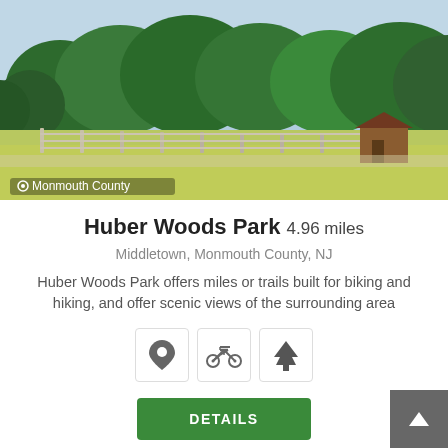[Figure (photo): Outdoor landscape photo showing green meadow with wooden fence, small shed/barn structure on the right, and lush green trees in the background under a light blue sky. Monmouth County geo-tag label visible at bottom left.]
Huber Woods Park 4.96 miles
Middletown, Monmouth County, NJ
Huber Woods Park offers miles or trails built for biking and hiking, and offer scenic views of the surrounding area
[Figure (illustration): Three icon boxes in a row: location pin icon, bicycle icon, tree/pine icon]